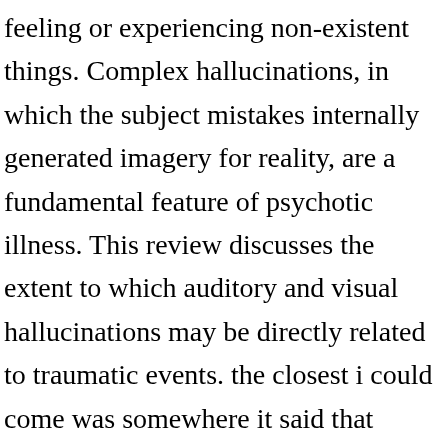feeling or experiencing non-existent things. Complex hallucinations, in which the subject mistakes internally generated imagery for reality, are a fundamental feature of psychotic illness. This review discusses the extent to which auditory and visual hallucinations may be directly related to traumatic events. the closest i could come was somewhere it said that 'pseudo' hallucinations are once off (mine have lasted a few months, over a few years), or that the voices come from "inside" the head, whereas people with schizophrenia have their voices "outside" the head. The most relevant